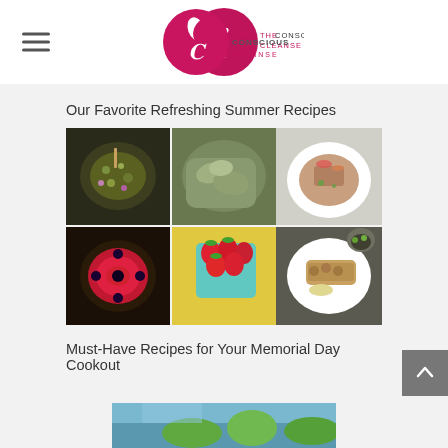The Conscious Cleanse
Our Favorite Refreshing Summer Recipes
[Figure (photo): A 3x2 grid of six food photos showing summer recipes: a grain bowl with vegetables, a chopped salad, a meat dish with sauce on a white plate, a fruit tart with berries, a container of strawberries, and grilled chicken with lemon on a plate.]
Must-Have Recipes for Your Memorial Day Cookout
[Figure (photo): Partial view of a food photo with green vegetables on a blue background, cropped at the bottom of the page.]